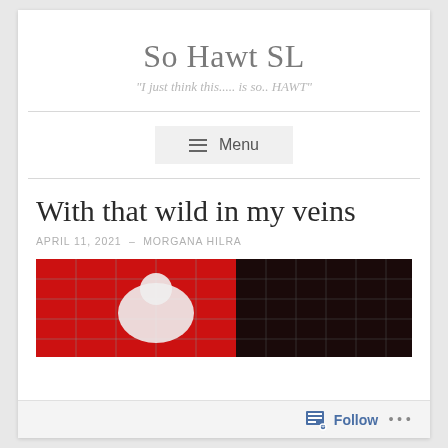So Hawt SL
"I just think this..... is so.. HAWT"
Menu
With that wild in my veins
APRIL 11, 2021 · MORGANA HILRA
[Figure (photo): A photo showing what appears to be a white figure against a red and dark grid/cage background]
Follow